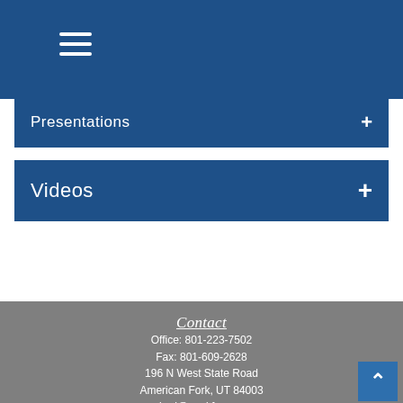[Figure (screenshot): Hamburger menu icon (three horizontal white lines) on blue navigation bar background]
Presentations
Videos
Contact
Office: 801-223-7502
Fax: 801-609-2628
196 N West State Road
American Fork, UT 84003
cheri@peakfns.com
Quick Links
Retirement